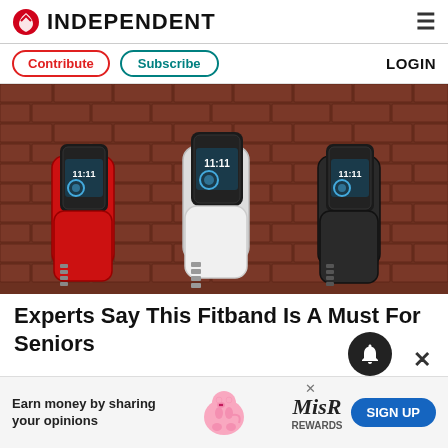INDEPENDENT
Contribute  Subscribe  LOGIN
[Figure (photo): Three fitness tracker wristbands (red, white, black) displayed against a brick wall background, each showing 11:11 on their digital displays.]
Experts Say This Fitband Is A Must For Seniors
[Figure (infographic): Advertisement banner: Earn money by sharing your opinions. Miss Rewards sign up button.]